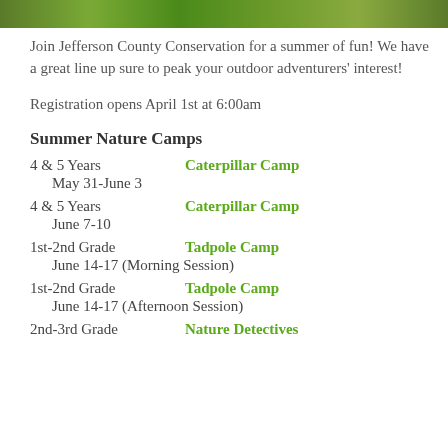[Figure (photo): Nature/outdoor photo strip at top of page showing green foliage/grass]
Join Jefferson County Conservation for a summer of fun! We have a great line up sure to peak your outdoor adventurers' interest!
Registration opens April 1st at 6:00am
Summer Nature Camps
4 & 5 Years    Caterpillar Camp    May 31-June 3
4 & 5 Years    Caterpillar Camp    June 7-10
1st-2nd Grade    Tadpole Camp    June 14-17 (Morning Session)
1st-2nd Grade    Tadpole Camp    June 14-17 (Afternoon Session)
2nd-3rd Grade    Nature Detectives